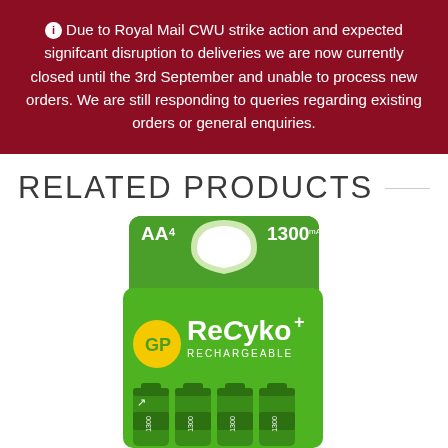ℹ Due to Royal Mail CWU strike action and expected signifcant disruption to deliveries we are now currently closed until the 3rd September and unable to process new orders. We are still responding to queries regarding existing orders or general enquiries.
RELATED PRODUCTS
[Figure (photo): GP ReCyko+ rechargeable AA4 1300mAh batteries in green packaging, showing 4 AA batteries visible at the bottom of the pack]